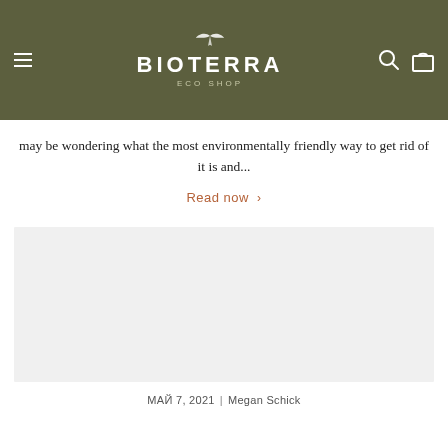BIOTERRA ECO SHOP
may be wondering what the most environmentally friendly way to get rid of it is and...
Read now ›
[Figure (photo): Large light gray placeholder image for an article]
МАЙ 7, 2021 | Megan Schick
Wool Dryer Balls: A Cheaper Way To D...